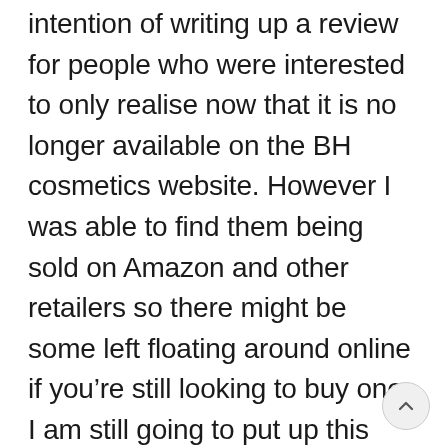intention of writing up a review for people who were interested to only realise now that it is no longer available on the BH cosmetics website. However I was able to find them being sold on Amazon and other retailers so there might be some left floating around online if you're still looking to buy one. I am still going to put up this review for anyone who already owns this and is looking for a little inspiration.
I will say that I had never heard of Carli Bybel before seeing this palette, she was not one of the Youtubers I watched so the main things